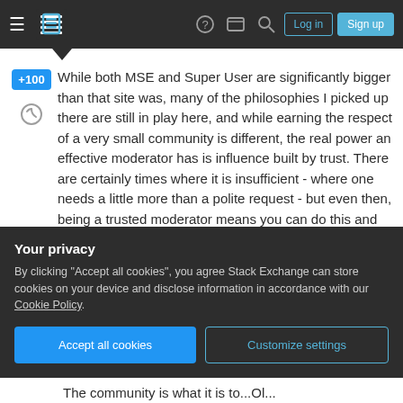Stack Exchange navigation bar with hamburger menu, logo, help, chat, search icons, Log in and Sign up buttons
While both MSE and Super User are significantly bigger than that site was, many of the philosophies I picked up there are still in play here, and while earning the respect of a very small community is different, the real power an effective moderator has is influence built by trust. There are certainly times where it is insufficient - where one needs a little more than a polite request - but even then, being a trusted moderator means you can do this and know your community has your back. It's less about
Your privacy
By clicking "Accept all cookies", you agree Stack Exchange can store cookies on your device and disclose information in accordance with our Cookie Policy.
Accept all cookies   Customize settings
The community is what it is to...Ol...